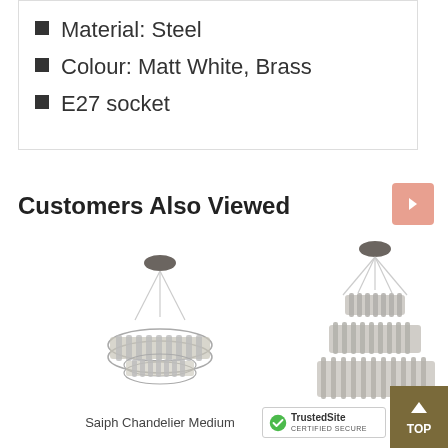Material: Steel
Colour: Matt White, Brass
E27 socket
Customers Also Viewed
[Figure (photo): Saiph Chandelier Medium - a multi-tier round crystal/glass chandelier with grey/chrome finish, suspended by cables from a disc ceiling mount]
Saiph Chandelier Medium
[Figure (photo): Larger chandelier (partially visible) - a multi-tier crystal chandelier with chrome finish, suspended by cables from a disc ceiling mount]